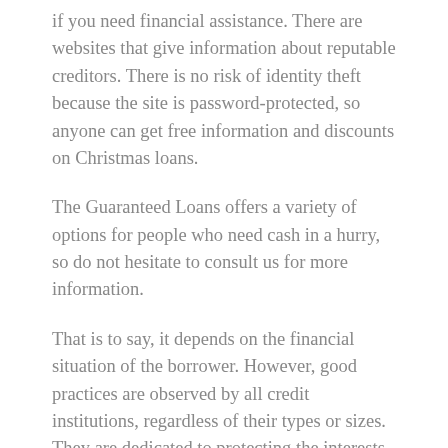if you need financial assistance. There are websites that give information about reputable creditors. There is no risk of identity theft because the site is password-protected, so anyone can get free information and discounts on Christmas loans.
The Guaranteed Loans offers a variety of options for people who need cash in a hurry, so do not hesitate to consult us for more information.
That is to say, it depends on the financial situation of the borrower. However, good practices are observed by all credit institutions, regardless of their types or sizes. They are dedicated to protecting the interests of their customers while they value their reputation.
The payment of loans is usually made in installments. This is the case with Christmas loans. The amount